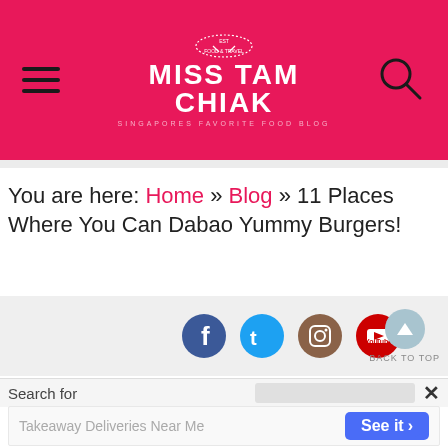MISS TAM CHIAK
You are here: Home » Blog » 11 Places Where You Can Dabao Yummy Burgers!
[Figure (infographic): Social media icons: Facebook, Twitter, Instagram, YouTube circles, and a Back to Top button]
Search for
[Figure (infographic): Advertisement banner: Takeaway Deliveries Near Me See it button]